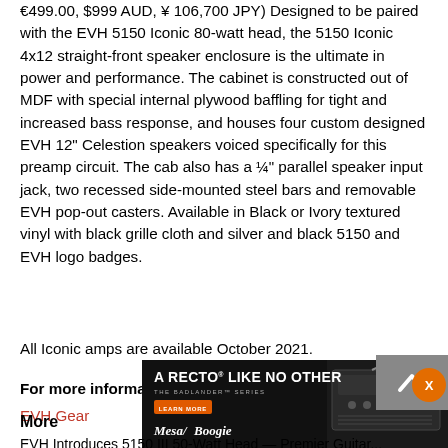€499.00, $999 AUD, ¥ 106,700 JPY) Designed to be paired with the EVH 5150 Iconic 80-watt head, the 5150 Iconic 4x12 straight-front speaker enclosure is the ultimate in power and performance. The cabinet is constructed out of MDF with special internal plywood baffling for tight and increased bass response, and houses four custom designed EVH 12" Celestion speakers voiced specifically for this preamp circuit. The cab also has a ¼" parallel speaker input jack, two recessed side-mounted steel bars and removable EVH pop-out casters. Available in Black or Ivory textured vinyl with black grille cloth and silver and black 5150 and EVH logo badges.
All Iconic amps are available October 2021.
For more information:
EVH Gear
[Figure (other): Advertisement banner for Mesa/Boogie 'A Recto Like No Other - The Badlander Series' showing an amplifier head with a guitar, with a Learn More button and Mesa/Boogie logo on dark background.]
More
EVH Introduces 5150 III 50-Watt Head — Premier Guitar...